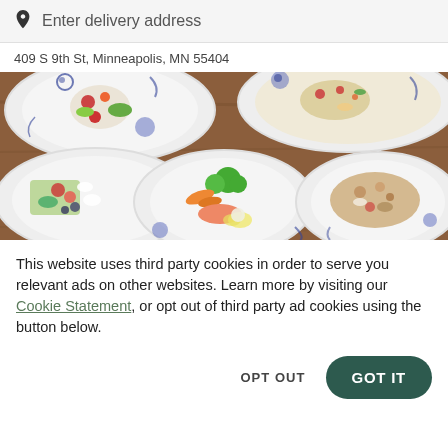Enter delivery address
409 S 9th St, Minneapolis, MN 55404
[Figure (photo): Overhead photo of several decorated ceramic plates with various food dishes including salads, vegetables, grains, and flatbread with toppings, arranged on a wooden table surface.]
This website uses third party cookies in order to serve you relevant ads on other websites. Learn more by visiting our Cookie Statement, or opt out of third party ad cookies using the button below.
OPT OUT
GOT IT